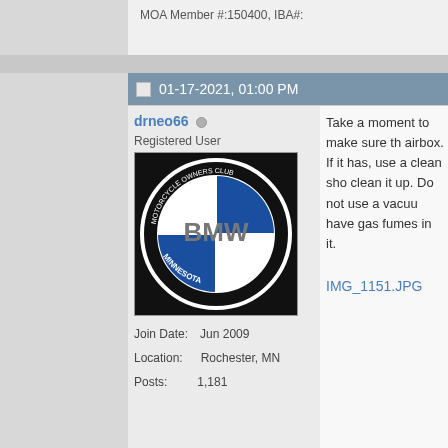MOA Member #:150400, IBA#:
01-17-2021, 01:00 PM
drneo66
Registered User
[Figure (logo): BMW Motorrad Club Minnesota logo - black and white BMW roundel with text MINNESOTA]
Join Date: Jun 2009
Location: Rochester, MN
Posts: 1,181
Take a moment to make sure there is no fuel in the airbox. If it has, use a clean shop towel to clean it up. Do not use a vacuum as it could have gas fumes in it.
IMG_1151.JPG
Last edited by drneo66; 03-12-2021 a
Current: 2007 BMW R1200RT, 
Former: 1995 BMW K75S, 2009
MOA Member #:150400, IBA#:
01-17-2021, 01:06 PM
drneo66
The steps to install the new filte